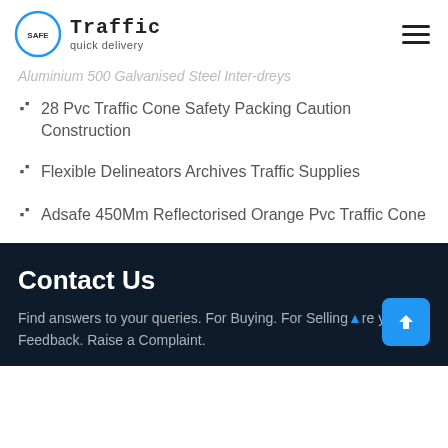Safe Traffic quick delivery
Aluminium 500 Galvanised Steel Inter-dreys
28 Pvc Traffic Cone Safety Packing Caution Construction
Flexible Delineators Archives Traffic Supplies
Adsafe 450Mm Reflectorised Orange Pvc Traffic Cone
Contact Us
Find answers to your queries. For Buying. For Selling. Share your Feedback. Raise a Complaint.